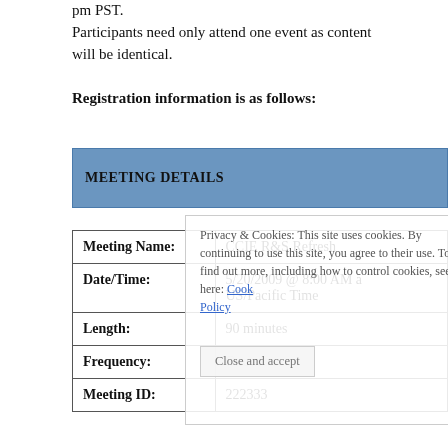pm PST.
Participants need only attend one event as content will be identical.
Registration information is as follows:
| Field | Value |
| --- | --- |
| Meeting Name: | CCIE R&S Refresh |
| Date/Time: | 5/20/2009 @ 8:00 AM and US/Pacific Time |
| Length: | 90 minutes |
| Frequency: | Once |
| Meeting ID: | 222333 |